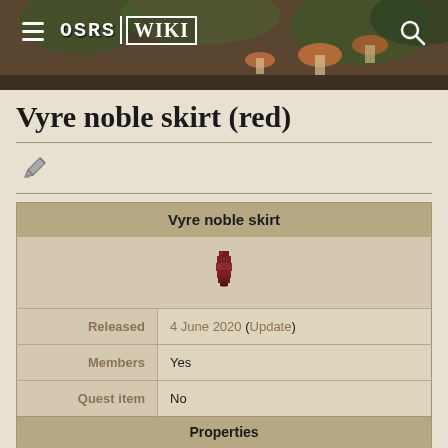OSRS Wiki
Vyre noble skirt (red)
| Property | Value |
| --- | --- |
| Vyre noble skirt |  |
| [image] |  |
| Released | 4 June 2020 (Update) |
| Members | Yes |
| Quest item | No |
| Properties |  |
| Tradeable | No |